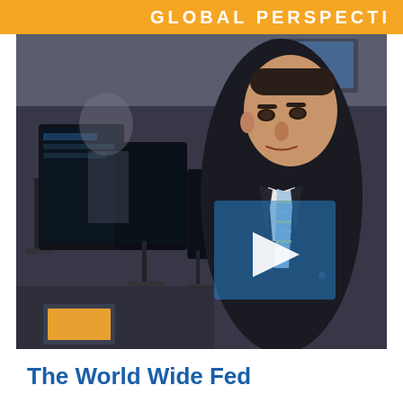GLOBAL PERSPECTI
[Figure (photo): A man in a dark suit with a light blue and yellow striped tie stands in a trading office environment with multiple computer monitors. A semi-transparent blue play button overlay is visible in the center-right area of the image.]
The World Wide Fed